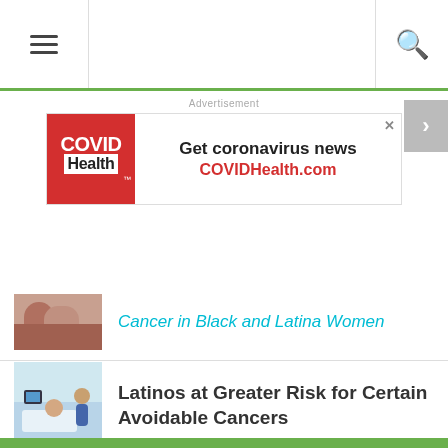Navigation bar with menu and search icons
[Figure (infographic): COVID Health advertisement banner: COVID Health logo on red background, text 'Get coronavirus news COVIDHealth.com']
Cancer in Black and Latina Women
[Figure (photo): Doctor consulting with patient in hospital setting]
Latinos at Greater Risk for Certain Avoidable Cancers
[Figure (photo): City buildings with 9/11 debris or smoke]
Latinos in 9/11 Cleanup Crews Are Sick and Tired